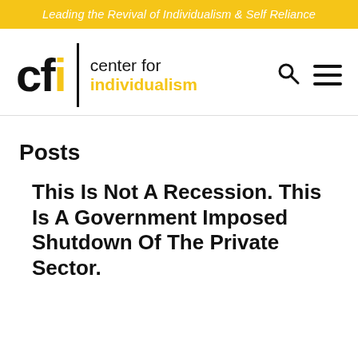Leading the Revival of Individualism & Self Reliance
[Figure (logo): Center for Individualism logo with 'cfi' in large bold text and 'center for individualism' text alongside search and hamburger menu icons]
Posts
This Is Not A Recession. This Is A Government Imposed Shutdown Of The Private Sector.